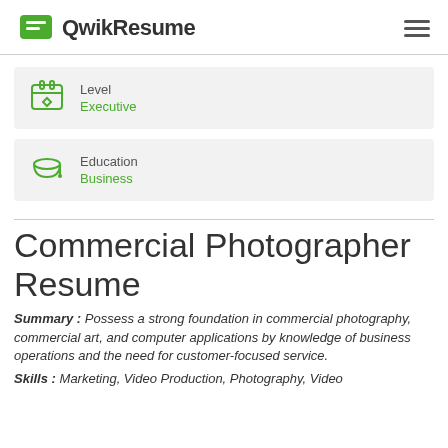QwikResume
Level
Executive
Education
Business
Commercial Photographer Resume
Summary : Possess a strong foundation in commercial photography, commercial art, and computer applications by knowledge of business operations and the need for customer-focused service.
Skills : Marketing, Video Production, Photography, Video